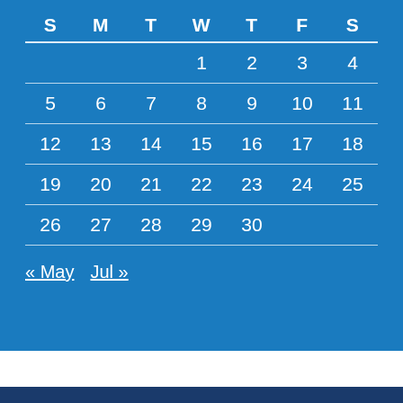| S | M | T | W | T | F | S |
| --- | --- | --- | --- | --- | --- | --- |
|  |  |  | 1 | 2 | 3 | 4 |
| 5 | 6 | 7 | 8 | 9 | 10 | 11 |
| 12 | 13 | 14 | 15 | 16 | 17 | 18 |
| 19 | 20 | 21 | 22 | 23 | 24 | 25 |
| 26 | 27 | 28 | 29 | 30 |  |  |
« May   Jul »